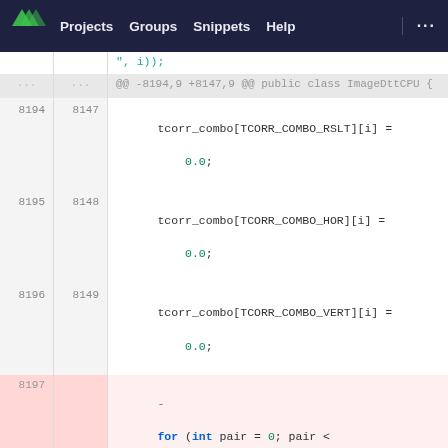Projects  Groups  Snippets  Help  ...
[Figure (screenshot): Code diff view showing changes to ImageDttCPU class. Lines 8194-8196 (unchanged) assign 0.0 to tcorr_combo[TCORR_COMBO_RSLT][i], tcorr_combo[TCORR_COMBO_HOR][i], and tcorr_combo[TCORR_COMBO_VERT][i]. Line 8197 (deleted, red) contains a for loop using corr_pairs.length. Line 8150 (added, green) contains a for loop using CORR_PAIRS.length.]